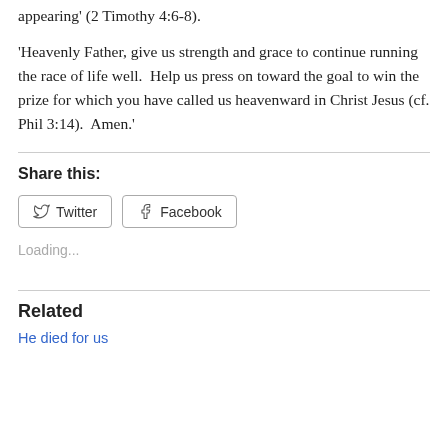appearing' (2 Timothy 4:6-8).
'Heavenly Father, give us strength and grace to continue running the race of life well.  Help us press on toward the goal to win the prize for which you have called us heavenward in Christ Jesus (cf. Phil 3:14).  Amen.'
Share this:
Twitter  Facebook
Loading...
Related
He died for us